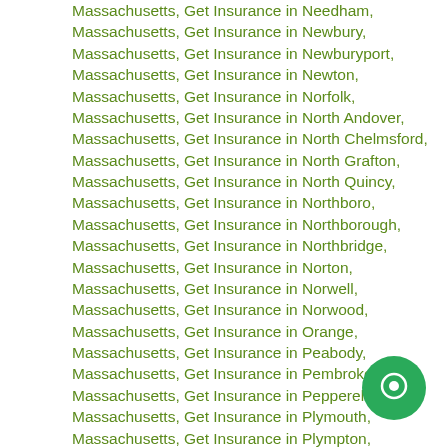Massachusetts, Get Insurance in Needham, Massachusetts, Get Insurance in Newbury, Massachusetts, Get Insurance in Newburyport, Massachusetts, Get Insurance in Newton, Massachusetts, Get Insurance in Norfolk, Massachusetts, Get Insurance in North Andover, Massachusetts, Get Insurance in North Chelmsford, Massachusetts, Get Insurance in North Grafton, Massachusetts, Get Insurance in North Quincy, Massachusetts, Get Insurance in Northboro, Massachusetts, Get Insurance in Northborough, Massachusetts, Get Insurance in Northbridge, Massachusetts, Get Insurance in Norton, Massachusetts, Get Insurance in Norwell, Massachusetts, Get Insurance in Norwood, Massachusetts, Get Insurance in Orange, Massachusetts, Get Insurance in Peabody, Massachusetts, Get Insurance in Pembroke, Massachusetts, Get Insurance in Pepperell, Massachusetts, Get Insurance in Plymouth, Massachusetts, Get Insurance in Plympton, Massachusetts, Get Insurance in Quincy, Massachusetts, Get Insurance in Randolph, Massachusetts, Get Insurance in Raynham, MA, Get Insurance in Reading, Massachusetts, Get Insurance in Rehoboth, Massachusetts, Get Insurance in Revere, Massachusetts, Get Insurance in Rockland,
[Figure (other): Green circular chat/messenger button with white speech bubble icon, positioned at bottom right of page]